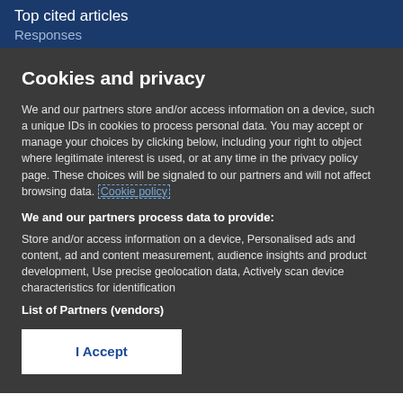Top cited articles
Responses
Cookies and privacy
We and our partners store and/or access information on a device, such a unique IDs in cookies to process personal data. You may accept or manage your choices by clicking below, including your right to object where legitimate interest is used, or at any time in the privacy policy page. These choices will be signaled to our partners and will not affect browsing data. Cookie policy
We and our partners process data to provide:
Store and/or access information on a device, Personalised ads and content, ad and content measurement, audience insights and product development, Use precise geolocation data, Actively scan device characteristics for identification
List of Partners (vendors)
I Accept